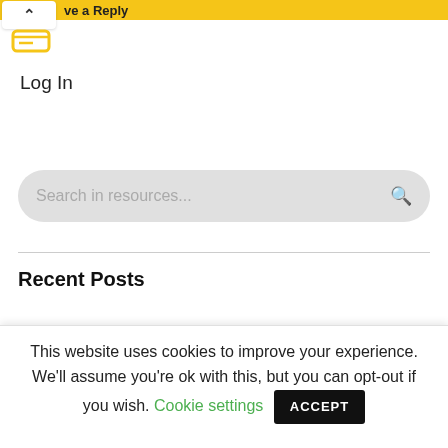ve a Reply
Log In
[Figure (screenshot): Search bar with placeholder text 'Search in resources...' and a search icon on the right, styled with rounded corners on a light gray background]
Recent Posts
This website uses cookies to improve your experience. We'll assume you're ok with this, but you can opt-out if you wish. Cookie settings ACCEPT